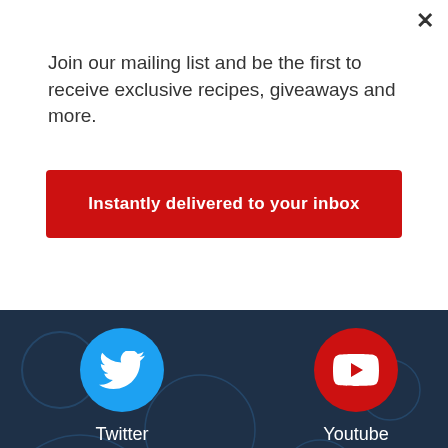Join our mailing list and be the first to receive exclusive recipes, giveaways and more.
Instantly delivered to your inbox
[Figure (screenshot): Dark navy background with social media icons: Twitter (blue bird), Youtube (red play button), Pinterest (red P logo). Labels for each below the icons.]
Twitter
Youtube
Pinterest
Home  Recipes  Blog  Store  Insider  Resources
33 SHARES